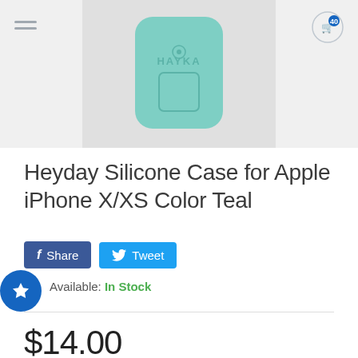[Figure (photo): Product photo of a teal/mint Heyday silicone iPhone case on a light gray background, with HAYKA branding visible]
Heyday Silicone Case for Apple iPhone X/XS Color Teal
[Figure (infographic): Facebook Share button (dark blue) and Twitter Tweet button (light blue) side by side]
Available: In Stock
$14.00
Quantity
[Figure (other): Quantity selector showing 1 with + and - buttons in a pill/rounded rectangle]
[Figure (other): Partial yellow-outlined Add to Cart button at bottom]